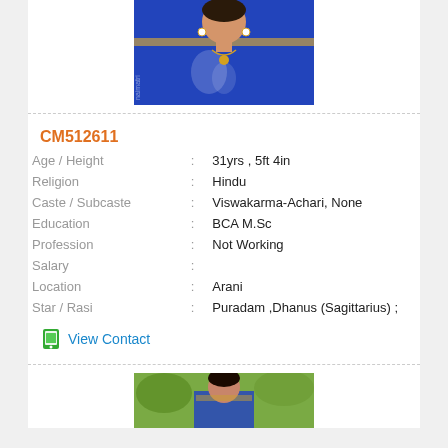[Figure (photo): Photo of a woman in a blue saree with gold jewelry]
CM512611
| Age / Height | : | 31yrs , 5ft 4in |
| Religion | : | Hindu |
| Caste / Subcaste | : | Viswakarma-Achari, None |
| Education | : | BCA M.Sc |
| Profession | : | Not Working |
| Salary | : |  |
| Location | : | Arani |
| Star / Rasi | : | Puradam ,Dhanus (Sagittarius) ; |
View Contact
[Figure (photo): Photo of a woman in a blue saree outdoors]